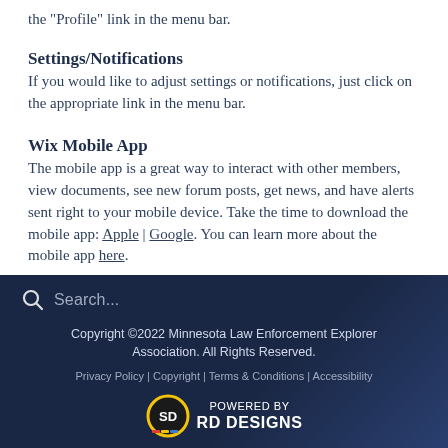the "Profile" link in the menu bar.
Settings/Notifications
If you would like to adjust settings or notifications, just click on the appropriate link in the menu bar.
Wix Mobile App
The mobile app is a great way to interact with other members, view documents, see new forum posts, get news, and have alerts sent right to your mobile device. Take the time to download the mobile app: Apple | Google. You can learn more about the mobile app here.
Search... Copyright ©2022 Minnesota Law Enforcement Explorer Association. All Rights Reserved. Privacy Policy | Copyright | Terms & Conditions | Accessibility POWERED BY RD DESIGNS